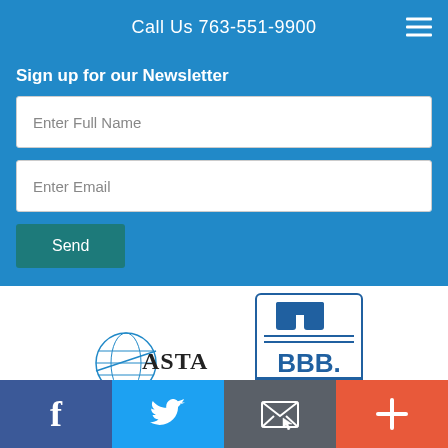Call Us 763-551-9900
Sign up for our Newsletter
Enter Full Name
Enter Email
Send
[Figure (logo): ASTA logo — globe with ASTA text and horizontal lines]
[Figure (logo): BBB Accredited Business logo — Rating: A+]
Social icons: Facebook, Twitter, Email, Plus